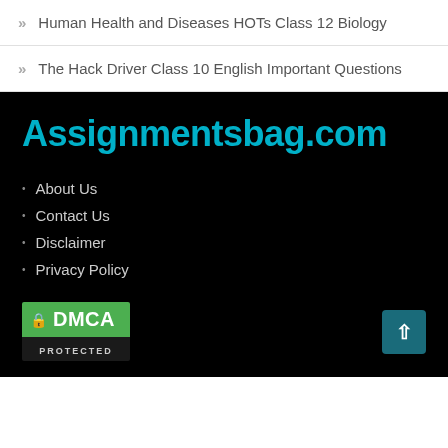Human Health and Diseases HOTs Class 12 Biology
The Hack Driver Class 10 English Important Questions
Assignmentsbag.com
About Us
Contact Us
Disclaimer
Privacy Policy
[Figure (logo): DMCA Protected badge with green top section showing lock icon and DMCA text, black bottom section showing PROTECTED text]
[Figure (other): Teal back-to-top button with upward arrow]